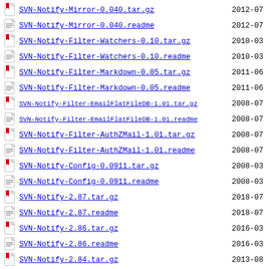SVN-Notify-Mirror-0.040.tar.gz  2012-07
SVN-Notify-Mirror-0.040.readme  2012-07
SVN-Notify-Filter-Watchers-0.10.tar.gz  2010-03
SVN-Notify-Filter-Watchers-0.10.readme  2010-03
SVN-Notify-Filter-Markdown-0.05.tar.gz  2011-06
SVN-Notify-Filter-Markdown-0.05.readme  2011-06
SVN-Notify-Filter-EmailFlatFileDB-1.01.tar.gz  2008-07
SVN-Notify-Filter-EmailFlatFileDB-1.01.readme  2008-07
SVN-Notify-Filter-AuthZMail-1.01.tar.gz  2008-07
SVN-Notify-Filter-AuthZMail-1.01.readme  2008-07
SVN-Notify-Config-0.0911.tar.gz  2008-03
SVN-Notify-Config-0.0911.readme  2008-03
SVN-Notify-2.87.tar.gz  2018-07
SVN-Notify-2.87.readme  2018-07
SVN-Notify-2.86.tar.gz  2016-03
SVN-Notify-2.86.readme  2016-03
SVN-Notify-2.84.tar.gz  2013-08